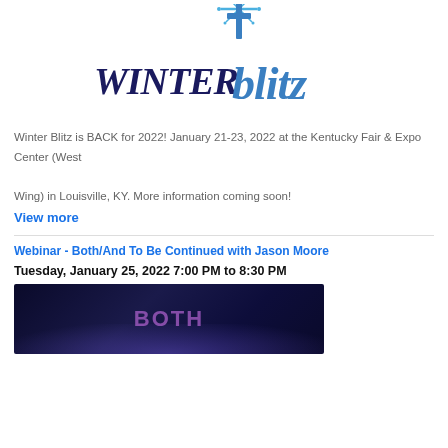[Figure (logo): Winter Blitz logo with cross and snowflake graphic above stylized text reading WINTER blitz in dark navy and blue]
Winter Blitz is BACK for 2022! January 21-23, 2022 at the Kentucky Fair & Expo Center (West Wing) in Louisville, KY. More information coming soon!
View more
Webinar - Both/And To Be Continued with Jason Moore
Tuesday, January 25, 2022 7:00 PM to 8:30 PM
[Figure (photo): Dark promotional image with purple/pink neon text partially visible at bottom]